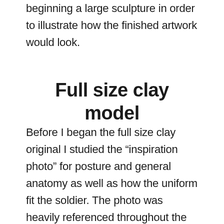Generally, these are necessary before beginning a large sculpture in order to illustrate how the finished artwork would look.
Full size clay model
Before I began the full size clay original I studied the “inspiration photo” for posture and general anatomy as well as how the uniform fit the soldier. The photo was heavily referenced throughout the claying up process for accuracy. Since there are